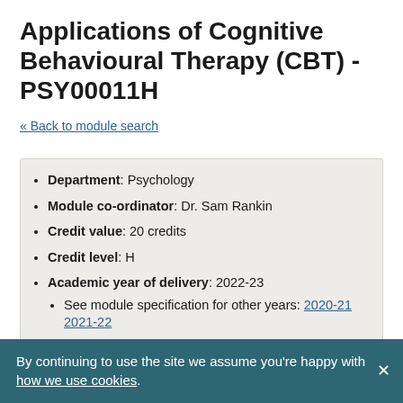Applications of Cognitive Behavioural Therapy (CBT) - PSY00011H
« Back to module search
Department: Psychology
Module co-ordinator: Dr. Sam Rankin
Credit value: 20 credits
Credit level: H
Academic year of delivery: 2022-23
See module specification for other years: 2020-21 2021-22
By continuing to use the site we assume you're happy with how we use cookies.